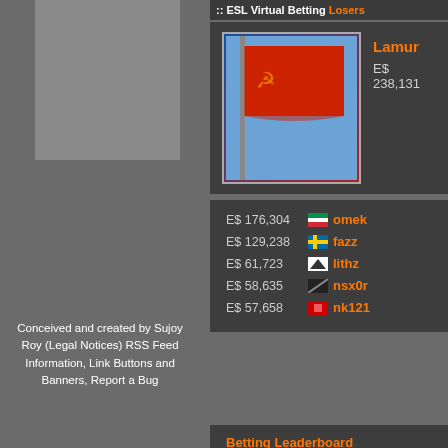ESL Virtual Betting — Losers
[Figure (photo): Soviet/USSR red flag with hammer and sickle on blue sky background, used as user avatar for Lamur]
Lamur
E$ 238,131
E$ 176,304 [Italy flag] omek
E$ 129,238 [Sweden flag] fazz
E$ 61,723 [rocket icon] lithz
E$ 58,635 [flag icon] nsx0r
E$ 57,658 [flag icon] nk121
Betting Leaderboard
Open Betting Fixtures
Conceived and created by Sujoy Roy (Legal Notices) RSS Feed Information, Link Buttons and Banners, Report a Bug